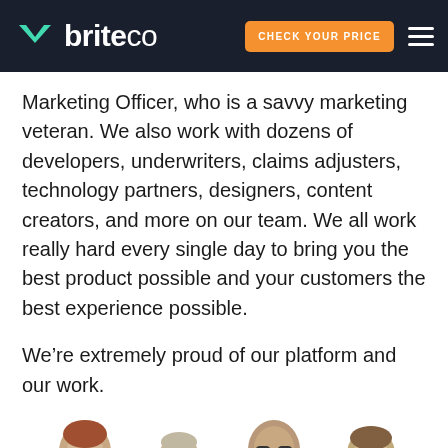briteco | CHECK YOUR PRICE
Marketing Officer, who is a savvy marketing veteran. We also work with dozens of developers, underwriters, claims adjusters, technology partners, designers, content creators, and more on our team. We all work really hard every single day to bring you the best product possible and your customers the best experience possible.
We’re extremely proud of our platform and our work.
[Figure (photo): Four people (team members) shown from shoulders up, partial view at bottom of page, cropped by page edge]